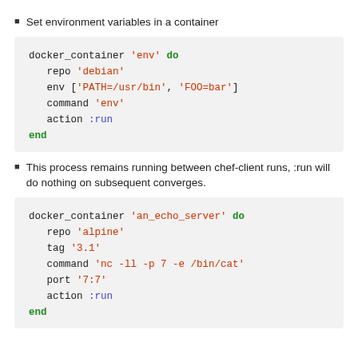Set environment variables in a container
docker_container 'env' do
  repo 'debian'
  env ['PATH=/usr/bin', 'FOO=bar']
  command 'env'
  action :run
end
This process remains running between chef-client runs, :run will do nothing on subsequent converges.
docker_container 'an_echo_server' do
  repo 'alpine'
  tag '3.1'
  command 'nc -ll -p 7 -e /bin/cat'
  port '7:7'
  action :run
end